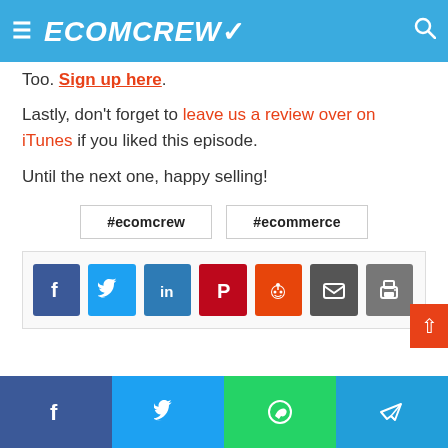ECOMCREW
Too. Sign up here.
Lastly, don't forget to leave us a review over on iTunes if you liked this episode.
Until the next one, happy selling!
#ecomcrew
#ecommerce
[Figure (infographic): Social share buttons row: Facebook, Twitter, LinkedIn, Pinterest, Reddit, Email, Print]
Social share bar: Facebook, Twitter, WhatsApp, Telegram